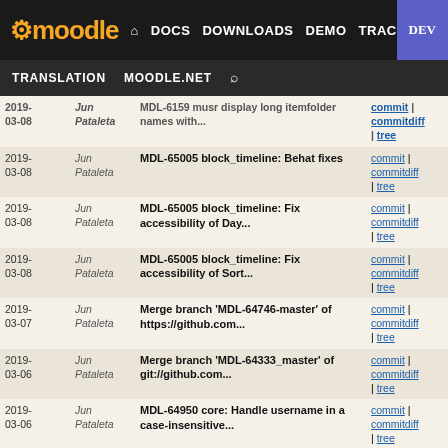moodle — DOCS DOWNLOADS DEMO TRACKER DEV | TRANSLATION MOODLE.NET
| Date | Author | Commit Message | Links |
| --- | --- | --- | --- |
| 2019-03-08 | Jun Pataleta | MDL-65005 musr display long itemfolder names with... | commit | commitdiff | tree |
| 2019-03-08 | Jun Pataleta | MDL-65005 block_timeline: Behat fixes | commit | commitdiff | tree |
| 2019-03-08 | Jun Pataleta | MDL-65005 block_timeline: Fix accessibility of Day... | commit | commitdiff | tree |
| 2019-03-08 | Jun Pataleta | MDL-65005 block_timeline: Fix accessibility of Sort... | commit | commitdiff | tree |
| 2019-03-07 | Jun Pataleta | Merge branch 'MDL-64746-master' of https://github.com... | commit | commitdiff | tree |
| 2019-03-06 | Jun Pataleta | Merge branch 'MDL-64333_master' of git://github.com... | commit | commitdiff | tree |
| 2019-03-06 | Jun Pataleta | MDL-64950 core: Handle username in a case-insensitive... | commit | commitdiff | tree |
| 2019-03-06 | Jun Pataleta | MDL-64950 core: Unit tests for get_complete_user_data() | commit | commitdiff | tree |
| 2019-03-05 | Jun Pataleta | Merge branch 'MDL-62465-master' of git://github.com... | commit | commitdiff | tree |
| 2019-03-05 | Jun Pataleta | Merge branch 'MDL-64652-master' of git://github.com... | commit | commitdiff | tree |